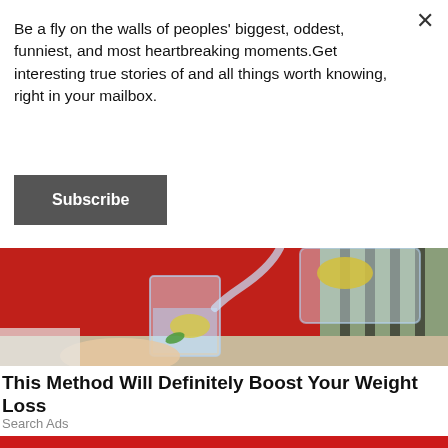Be a fly on the walls of peoples' biggest, oddest, funniest, and most heartbreaking moments.Get interesting true stories of and all things worth knowing, right in your mailbox.
Subscribe
[Figure (photo): Person in red sweater pouring water with lemon slice from a glass pitcher into a drinking glass on a wooden surface, with a blurred outdoor terrace in the background.]
This Method Will Definitely Boost Your Weight Loss
Search Ads